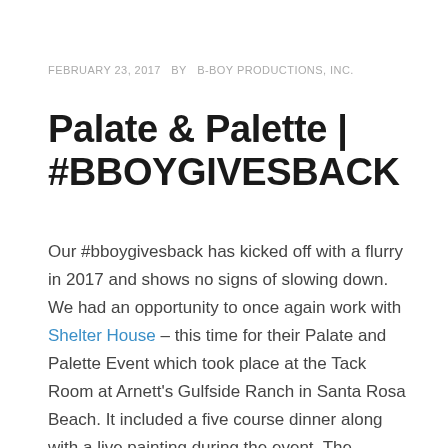FEBRUARY 23, 2017  BY  B-BOY PRODUCTIONS, INC.
Palate & Palette | #BBOYGIVESBACK
Our #bboygivesback has kicked off with a flurry in 2017 and shows no signs of slowing down. We had an opportunity to once again work with Shelter House – this time for their Palate and Palette Event which took place at the Tack Room at Arnett's Gulfside Ranch in Santa Rosa Beach. It included a five course dinner along with a live painting during the event. The musical soundtrack for the evening was live mixed by our own DJ Charles.